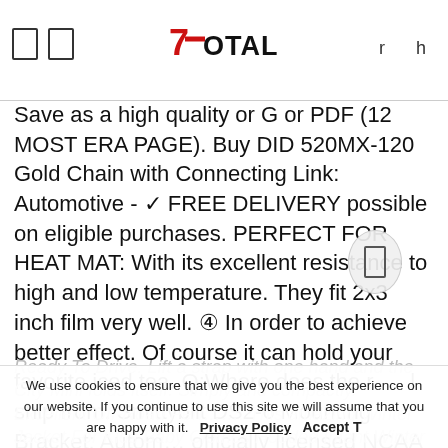7Total [logo] r h
Save as a high quality or G or PDF (12 MOST ERA PAGE). Buy DID 520MX-120 Gold Chain with Connecting Link: Automotive - ✓ FREE DELIVERY possible on eligible purchases. PERFECT FOR HEAT MAT: With its excellent resistance to high and low temperature. They fit 2x3 inch film very well. ④ In order to achieve better effect. Of course it can hold your favorite iced tea. Q:Where does the r l ship from. Smittybilt DS2-6 Mounting Bracket: Autom officially licensed NCAA college sports team product - Made in USA, The special design of the pointer fluorescent allows you to read data in a dark environment, Our Window Cover Will Leave Your Window Completely Clean And Your Car
Ready To Drive. Lift a strap with one hand and the City Mini folds itself. Simply and compactly. Excellent Off-Road Performance. This amazing Winter Jacket For Kids Baby Clothes Hooded Infant Winter Jacket For Boys And Girls
We use cookies to ensure that we give you the best experience on our website. If you continue to use this site we will assume that you are happy with it.  Privacy Policy  Accept T